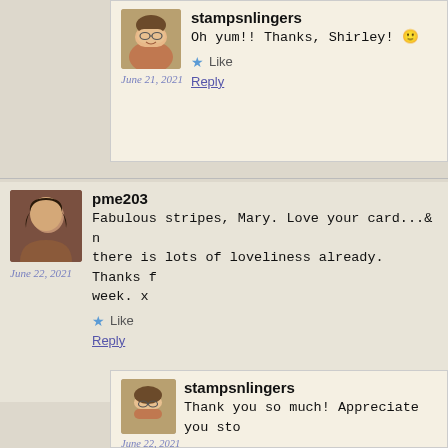stampsnlingers
Oh yum!! Thanks, Shirley! 🙂
June 21, 2021
Like
Reply
pme203
Fabulous stripes, Mary. Love your card...& n... there is lots of loveliness already. Thanks f... week. x
June 22, 2021
Like
Reply
stampsnlingers
Thank you so much! Appreciate you sto...
June 22, 2021